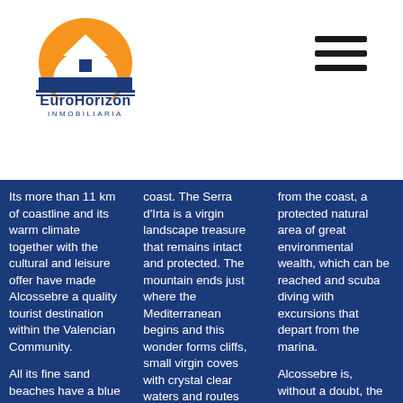[Figure (logo): EuroHorizon Inmobiliaria logo — orange arch with white house icon, blue underline, text 'EuroHorizon INMOBILIARIA']
Its more than 11 km of coastline and its warm climate together with the cultural and leisure offer have made Alcossebre a quality tourist destination within the Valencian Community.

All its fine sand beaches have a blue flag as an environmental mark. Las Fuentes
coast. The Serra d'Irta is a virgin landscape treasure that remains intact and protected. The mountain ends just where the Mediterranean begins and this wonder forms cliffs, small virgin coves with crystal clear waters and routes worth exploring with the
from the coast, a protected natural area of great environmental wealth, which can be reached and scuba diving with excursions that depart from the marina.

Alcossebre is, without a doubt, the perfect enclave for lovers of hiking, the Mediterranean,